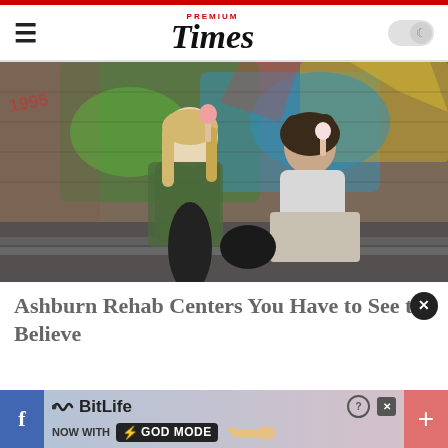PREMIUM Times
[Figure (photo): Two young women sitting against a graffiti-covered brick wall outdoors at night, both eating ice cream cones. The woman on the left has long blonde hair and a green jacket; the woman on the right has dark curly hair and a white top with a leopard-print skirt.]
Ashburn Rehab Centers You Have to See to Believe
[Figure (screenshot): BitLife app advertisement banner reading 'NOW WITH GOD MODE' with lightning bolt icon, help and close buttons, flanked by a Facebook button on the left and a red plus button on the right.]